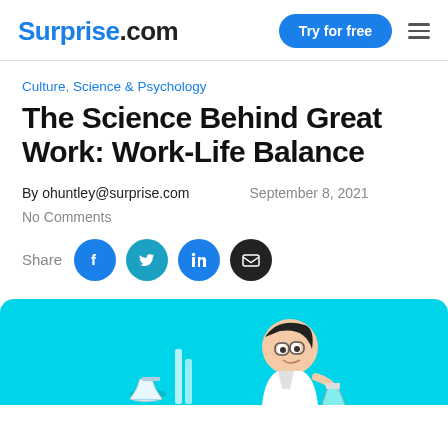Surprise.com — Try for free
Culture, Science & Psychology
The Science Behind Great Work: Work-Life Balance
By ohuntley@surprise.com    September 8, 2021
No Comments
Share
[Figure (illustration): Cyan/turquoise hero banner with a cartoon scientist character and laboratory glassware illustration]